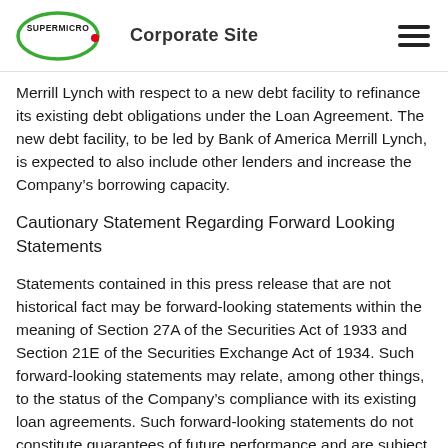SUPERMICRO Corporate Site
Merrill Lynch with respect to a new debt facility to refinance its existing debt obligations under the Loan Agreement. The new debt facility, to be led by Bank of America Merrill Lynch, is expected to also include other lenders and increase the Company's borrowing capacity.
Cautionary Statement Regarding Forward Looking Statements
Statements contained in this press release that are not historical fact may be forward-looking statements within the meaning of Section 27A of the Securities Act of 1933 and Section 21E of the Securities Exchange Act of 1934. Such forward-looking statements may relate, among other things, to the status of the Company's compliance with its existing loan agreements. Such forward-looking statements do not constitute guarantees of future performance and are subject to a variety of risks and